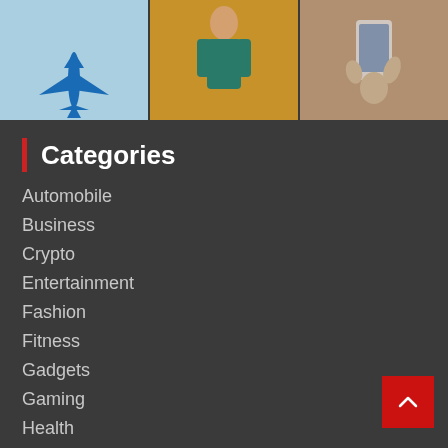[Figure (photo): Three images side by side: an airplane on blue background, a woman in teal swimwear on yellow background, and a hand holding a device on a brown background]
Categories
Automobile
Business
Crypto
Entertainment
Fashion
Fitness
Gadgets
Gaming
Health
Life Style
News
NFT